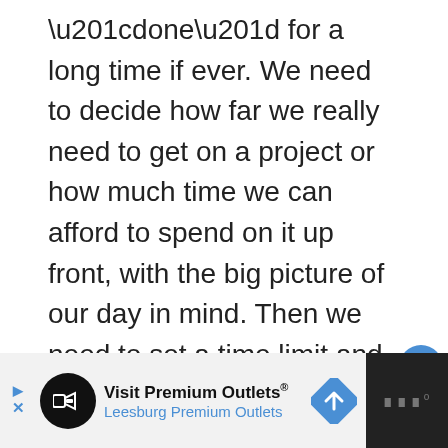“done” for a long time if ever. We need to decide how far we really need to get on a project or how much time we can afford to spend on it up front, with the big picture of our day in mind. Then we need to set a time limit and stick with it. Create an appointment in our calendar for a set time. Set a timer on our phone.
[Figure (other): UI interaction buttons: heart/like button (blue circle with heart icon), like count showing '1', and share button (white circle with share icon)]
[Figure (other): Advertisement banner: Visit Premium Outlets / Leesburg Premium Outlets with navigation arrow icon and dark right panel with audio/media icon]